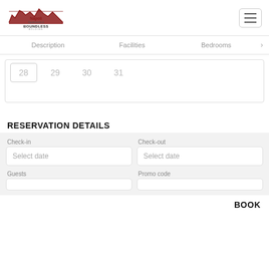[Figure (logo): Napoli Apartments.it Boundless Holding logo with red building silhouette]
[Figure (other): Hamburger menu button (three horizontal lines)]
Description   Facilities   Bedrooms   >
[Figure (other): Calendar strip showing dates 28, 29, 30, 31 with 28 selected/outlined]
RESERVATION DETAILS
Check-in
Select date
Check-out
Select date
Guests
Promo code
BOOK